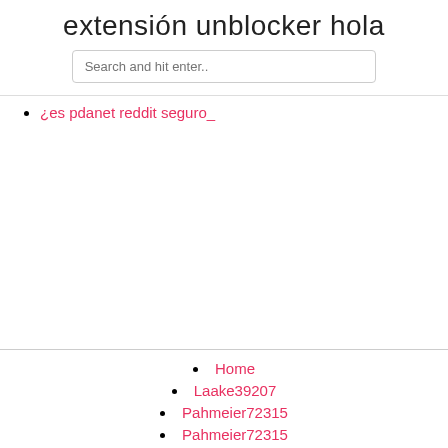extensión unblocker hola
[Figure (screenshot): Search input box with placeholder text 'Search and hit enter..']
¿es pdanet reddit seguro_
Home
Laake39207
Pahmeier72315
Pahmeier72315